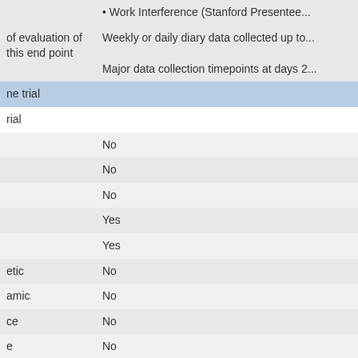| [Row label] | [Value/Description] |
| --- | --- |
|  | • Work Interference (Stanford Presentee... |
| of evaluation of this end point | Weekly or daily diary data collected up to...

Major data collection timepoints at days 2... |
| ne trial |  |
| rial |  |
|  | No |
|  | No |
|  | No |
|  | Yes |
|  | Yes |
| etic | No |
| amic | No |
| ce | No |
| e | No |
| etic | No |
| omic | No |